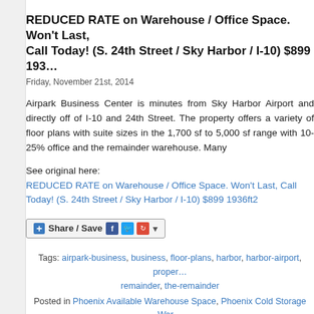REDUCED RATE on Warehouse / Office Space. Won't Last, Call Today! (S. 24th Street / Sky Harbor / I-10) $899 1936ft2
Friday, November 21st, 2014
Airpark Business Center is minutes from Sky Harbor Airport and directly off of I-10 and 24th Street. The property offers a variety of floor plans with suite sizes in the 1,700 sf to 5,000 sf range with 10-25% office and the remainder warehouse. Many
See original here:
REDUCED RATE on Warehouse / Office Space. Won't Last, Call Today! (S. 24th Street / Sky Harbor / I-10) $899 1936ft2
[Figure (other): Share/Save social sharing button with Facebook, Twitter, Google+ icons]
Tags: airpark-business, business, floor-plans, harbor, harbor-airport, property, remainder, the-remainder
Posted in Phoenix Available Warehouse Space, Phoenix Cold Storage Warehouse Space, Phoenix Dead Storage Warehouse, Phoenix Distribution Warehouse, Phoenix Tech Warehouse Space, Phoenix Warehouse Office Space, Phoenix Warehouse Space Listings | No Comments »
FREE RENT on Remodeled Business / Warehouse close to ASU! (Tempe/North Tempe) $1025 1298sqft